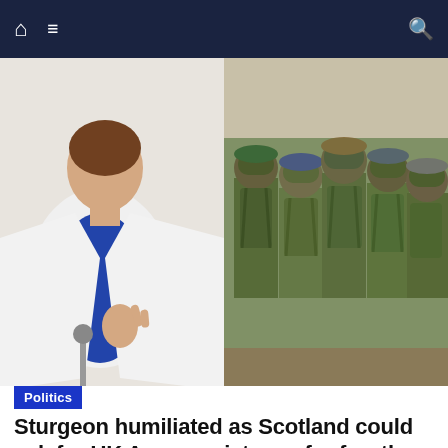Navigation bar with home, menu, and search icons
[Figure (photo): Split image: left side shows a woman in white blazer gesturing at a podium (Nicola Sturgeon); right side shows a group of UK Army soldiers in camouflage gear from behind]
Politics
Sturgeon humiliated as Scotland could ask for UK Army assistance for fourth time in a year
◄ Nightm...
Queen's... ►
We and our partners use cookies on this site to improve our service, perform analytics, personalize advertising, measure advertising performance, and remember website preferences.
Ok